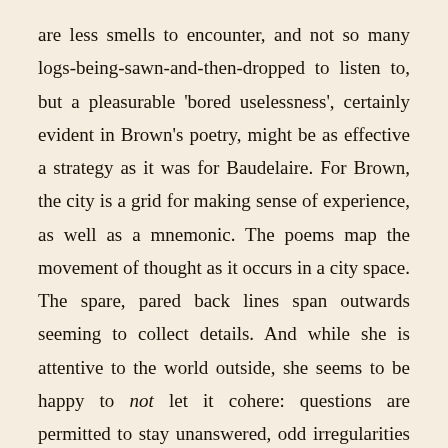are less smells to encounter, and not so many logs-being-sawn-and-then-dropped to listen to, but a pleasurable 'bored uselessness', certainly evident in Brown's poetry, might be as effective a strategy as it was for Baudelaire. For Brown, the city is a grid for making sense of experience, as well as a mnemonic. The poems map the movement of thought as it occurs in a city space. The spare, pared back lines span outwards seeming to collect details. And while she is attentive to the world outside, she seems to be happy to not let it cohere: questions are permitted to stay unanswered, odd irregularities are often placed in the poem as readymades.
Rather than the smoothly flowing motion of the car or bike, the poems move at walking pace, and with the memory of its